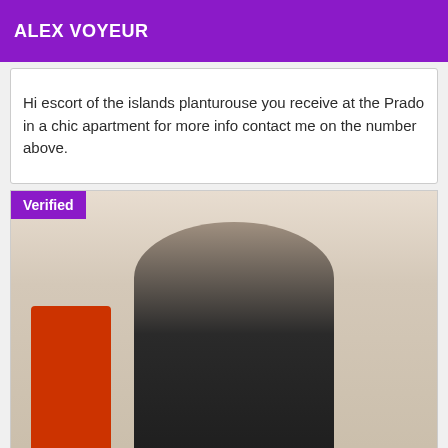ALEX VOYEUR
Hi escort of the islands planturouse you receive at the Prado in a chic apartment for more info contact me on the number above.
[Figure (photo): Photo of a young woman with long wavy blonde hair wearing a black lace top and a red necklace, standing in front of a white wall with a red element on the left side. A purple 'Verified' badge is overlaid in the top-left corner.]